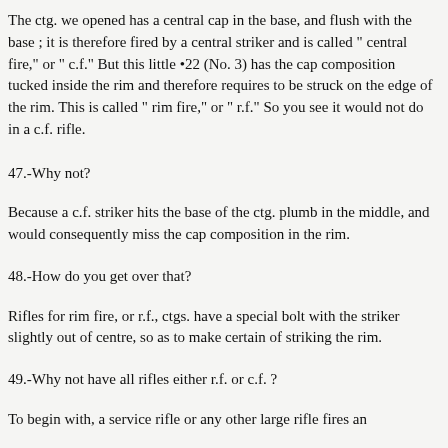The ctg. we opened has a central cap in the base, and flush with the base ; it is therefore fired by a central striker and is called " central fire," or " c.f." But this little •22 (No. 3) has the cap composition tucked inside the rim and therefore requires to be struck on the edge of the rim. This is called " rim fire," or " r.f." So you see it would not do in a c.f. rifle.
47.-Why not?
Because a c.f. striker hits the base of the ctg. plumb in the middle, and would consequently miss the cap composition in the rim.
48.-How do you get over that?
Rifles for rim fire, or r.f., ctgs. have a special bolt with the striker slightly out of centre, so as to make certain of striking the rim.
49.-Why not have all rifles either r.f. or c.f. ?
To begin with, a service rifle or any other large rifle fires an